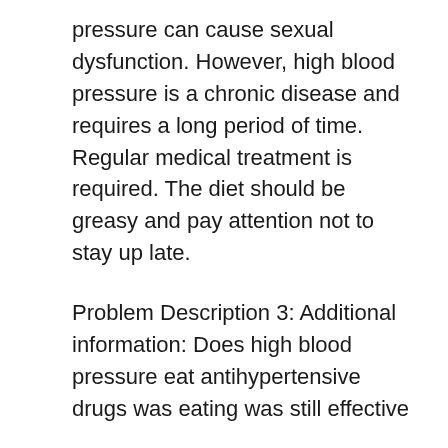pressure can cause sexual dysfunction. However, high blood pressure is a chronic disease and requires a long period of time. Regular medical treatment is required. The diet should be greasy and pay attention not to stay up late.
Problem Description 3: Additional information: Does high blood pressure eat antihypertensive drugs was eating was still effective
answer: You have a history of hypertension itself, now 7 years later by drug treatment currently relatively stable condition, has been discontinued, but Recently, blood pressure has been unstable. After taking valsartan and amlodipine, the current blood pressure is still at one hundred and fifty ninety. This situation can